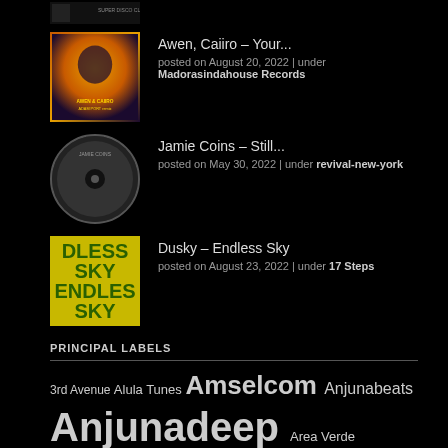[Figure (photo): Partial album art at top of page, small thumbnail partially visible]
Awen, Caiiro – Your... posted on August 20, 2022 | under Madorasindahouse Records
Jamie Coins – Still... posted on May 30, 2022 | under revival-new-york
Dusky – Endless Sky posted on August 23, 2022 | under 17 Steps
PRINCIPAL LABELS
3rd Avenue Alula Tunes Amselcom Anjunabeats Anjunadeep Area Verde Armada Music Cafe De Anatolia Codex Recordings Colorize